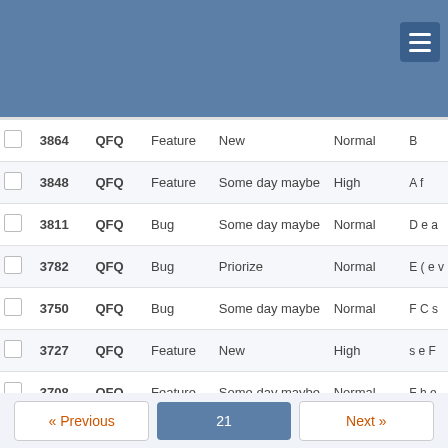|  | # | Project | Type | Status | Priority | Subject |
| --- | --- | --- | --- | --- | --- | --- |
|  | 3864 | QFQ | Feature | New | Normal | B... |
|  | 3848 | QFQ | Feature | Some day maybe | High | A f... |
|  | 3811 | QFQ | Bug | Some day maybe | Normal | D e a... |
|  | 3782 | QFQ | Bug | Priorize | Normal | E ( e v... |
|  | 3750 | QFQ | Bug | Some day maybe | Normal | F C s... |
|  | 3727 | QFQ | Feature | New | High | s e F... |
|  | 3708 | QFQ | Feature | Some day maybe | Normal | F h e... |
« Previous  21  Next »